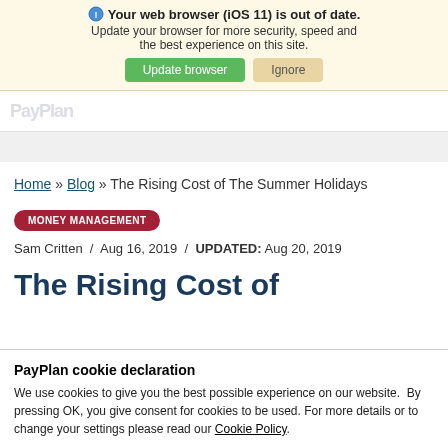Your web browser (iOS 11) is out of date. Update your browser for more security, speed and the best experience on this site. Update browser | Ignore
[Figure (logo): PayPlan logo (greyed out) in navigation bar]
Home » Blog » The Rising Cost of The Summer Holidays
MONEY MANAGEMENT
Sam Critten / Aug 16, 2019 / UPDATED: Aug 20, 2019
The Rising Cost of
PayPlan cookie declaration
We use cookies to give you the best possible experience on our website. By pressing OK, you give consent for cookies to be used. For more details or to change your settings please read our Cookie Policy.